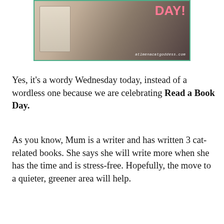[Figure (photo): Promotional banner image with text 'DAY!' in pink bold letters and URL 'atlmenacatgoddess.com' watermark, showing book and cat imagery with a teal/green border]
Yes, it's a wordy Wednesday today, instead of a wordless one because we are celebrating Read a Book Day.
As you know, Mum is a writer and has written 3 cat-related books. She says she will write more when she has the time and is stress-free. Hopefully, the move to a quieter, greener area will help.